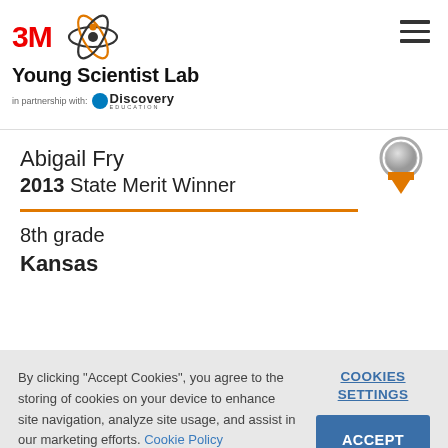3M Young Scientist Lab — in partnership with Discovery Education
Abigail Fry
2013 State Merit Winner
8th grade
Kansas
By clicking "Accept Cookies", you agree to the storing of cookies on your device to enhance site navigation, analyze site usage, and assist in our marketing efforts. Cookie Policy
COOKIES SETTINGS
ACCEPT COOKIES